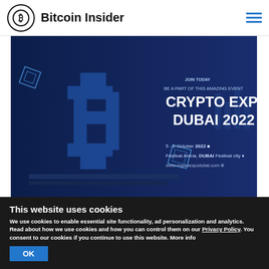Bitcoin Insider
[Figure (photo): Crypto Expo Dubai 2022 promotional banner with blue neon Bitcoin symbol, text: BE A PART OF THIS AMAZING EVENT, CRYPTO EXPO DUBAI 2022, 5-6 October 2022, Festival Arena, DUBAI Festival city, www.cryptoexpodubai.com]
This website uses cookies
We use cookies to enable essential site functionality, ad personalization and analytics. Read about how we use cookies and how you can control them on our Privacy Policy. You consent to our cookies if you continue to use this website. More info